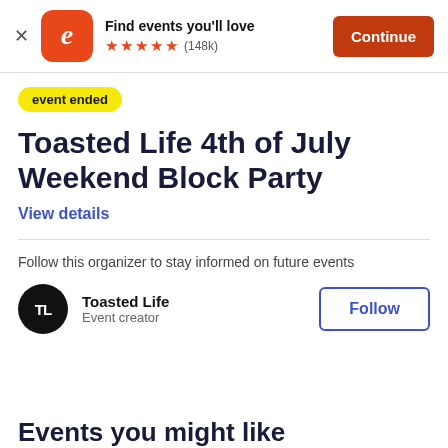[Figure (screenshot): Eventbrite app banner with orange logo, 'Find events you'll love' text, 5 orange stars and (148k) rating, and a red 'Continue' button]
event ended
Toasted Life 4th of July Weekend Block Party
View details
Follow this organizer to stay informed on future events
Toasted Life
Event creator
Follow
Events you might like